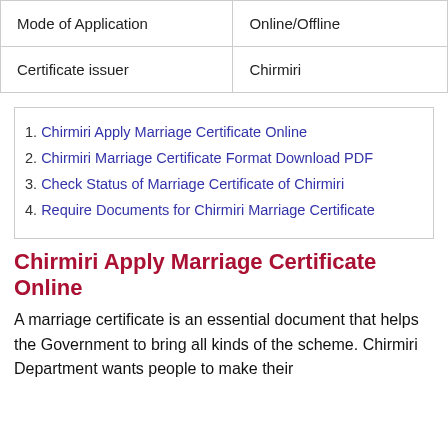| Mode of Application | Online/Offline |
| Certificate issuer | Chirmiri |
1. Chirmiri Apply Marriage Certificate Online
2. Chirmiri Marriage Certificate Format Download PDF
3. Check Status of Marriage Certificate of Chirmiri
4. Require Documents for Chirmiri Marriage Certificate
Chirmiri Apply Marriage Certificate Online
A marriage certificate is an essential document that helps the Government to bring all kinds of the scheme. Chirmiri Department wants people to make their